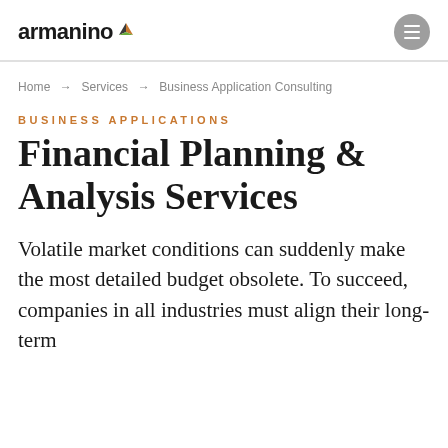armanino
Home → Services → Business Application Consulting
BUSINESS APPLICATIONS
Financial Planning & Analysis Services
Volatile market conditions can suddenly make the most detailed budget obsolete. To succeed, companies in all industries must align their long-term